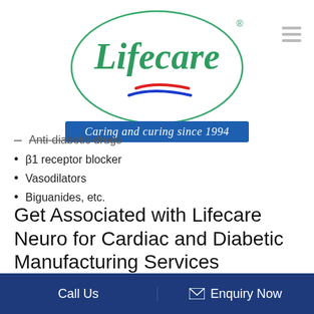[Figure (logo): Lifecare logo: green oval border with 'Lifecare' in large green script font, a red and blue swoosh/ribbon below the text. Below the oval, a blue banner with white italic text 'Caring and curing since 1994'.]
Anti-diabetic drugs
β1 receptor blocker
Vasodilators
Biguanides, etc.
Get Associated with Lifecare Neuro for Cardiac and Diabetic Manufacturing Services
Call Us   Enquiry Now